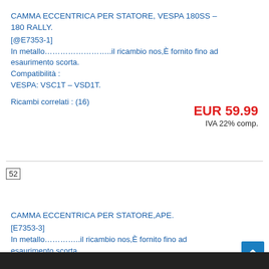CAMMA ECCENTRICA PER STATORE, VESPA 180SS – 180 RALLY.
[@E7353-1]
In metallo……………………..il ricambio nos,È fornito fino ad esaurimento scorta.
Compatibilità :
VESPA: VSC1T – VSD1T.
Ricambi correlati : (16)
EUR 59.99
IVA 22% comp.
52
CAMMA ECCENTRICA PER STATORE,APE.
[E7353-3]
In metallo…………..il ricambio nos,È fornito fino ad esaurimento scorta.
Compatibilità :
APE: AE01T – AE02T – AE1T – AE2T – AE3T – AD1T –